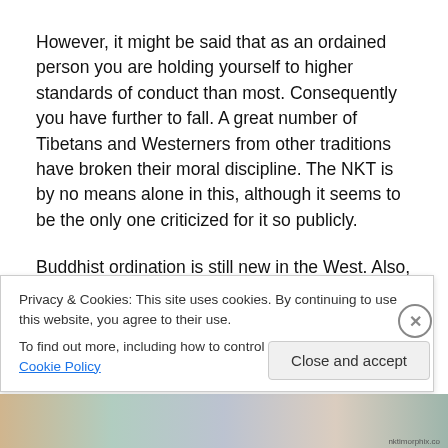However, it might be said that as an ordained person you are holding yourself to higher standards of conduct than most. Consequently you have further to fall. A great number of Tibetans and Westerners from other traditions have broken their moral discipline. The NKT is by no means alone in this, although it seems to be the only one criticized for it so publicly.
Buddhist ordination is still new in the West. Also, and I speculate, possibly the NKT has still been experiencing some of the fall-out from the disrobing of Samden Gyatso
Privacy & Cookies: This site uses cookies. By continuing to use this website, you agree to their use.
To find out more, including how to control cookies, see here: Cookie Policy